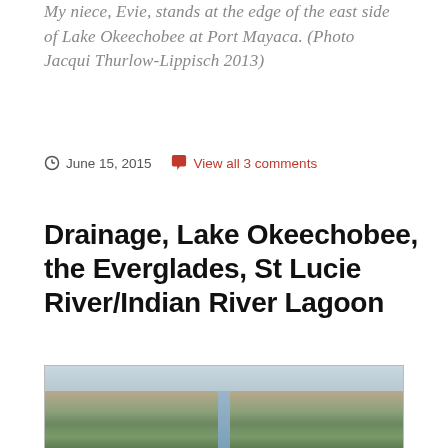My niece, Evie, stands at the edge of the east side of Lake Okeechobee at Port Mayaca. (Photo Jacqui Thurlow-Lippisch 2013)
June 15, 2015   View all 3 comments
Drainage, Lake Okeechobee, the Everglades, St Lucie River/Indian River Lagoon
[Figure (photo): Aerial photograph showing a canal or waterway cutting through flat, forested/vegetated Florida landscape, likely showing drainage infrastructure near Lake Okeechobee area.]